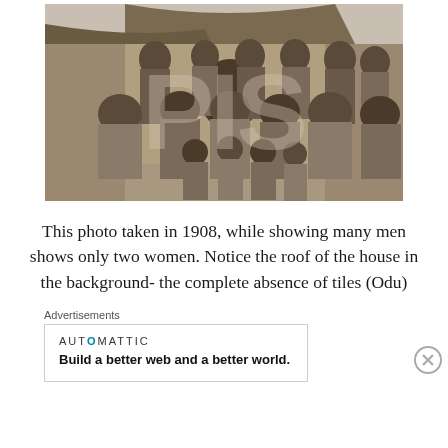[Figure (photo): Black and white photograph taken in 1908 showing a large group of people including many men and only two women, seated and standing in front of a thatched-roof house. A watermark with large numbers/letters is overlaid on the image.]
This photo taken in 1908, while showing many men shows only two women. Notice the roof of the house in the background- the complete absence of tiles (Odu)
Advertisements
AUTOMATTIC
Build a better web and a better world.